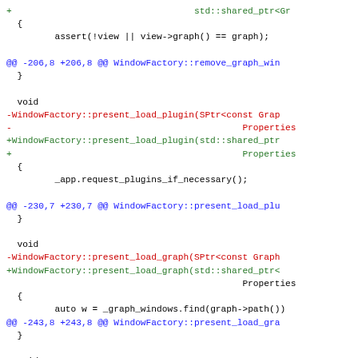Code diff showing WindowFactory method signature changes from SPtr<const Graph> to std::shared_ptr types